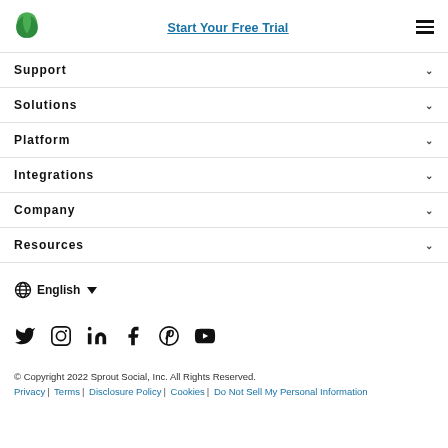Start Your Free Trial
Support
Solutions
Platform
Integrations
Company
Resources
English
[Figure (other): Social media icons: Twitter, Instagram, LinkedIn, Facebook, Pinterest, YouTube]
© Copyright 2022 Sprout Social, Inc. All Rights Reserved. Privacy | Terms | Disclosure Policy | Cookies | Do Not Sell My Personal Information